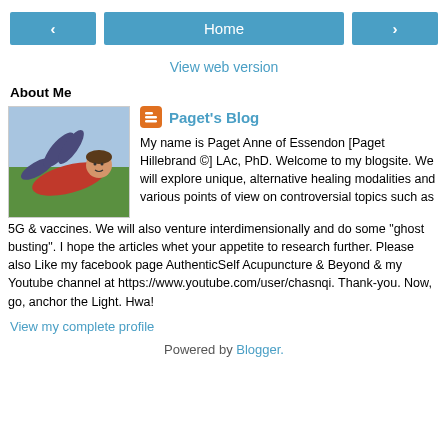< Home >
View web version
About Me
[Figure (photo): Photo of a woman lying on grass, wearing a red top and jeans, smiling at the camera]
Paget's Blog
My name is Paget Anne of Essendon [Paget Hillebrand ©] LAc, PhD. Welcome to my blogsite. We will explore unique, alternative healing modalities and various points of view on controversial topics such as 5G & vaccines. We will also venture interdimensionally and do some "ghost busting". I hope the articles whet your appetite to research further. Please also Like my facebook page AuthenticSelf Acupuncture & Beyond & my Youtube channel at https://www.youtube.com/user/chasnqi. Thank-you. Now, go, anchor the Light. Hwa!
View my complete profile
Powered by Blogger.